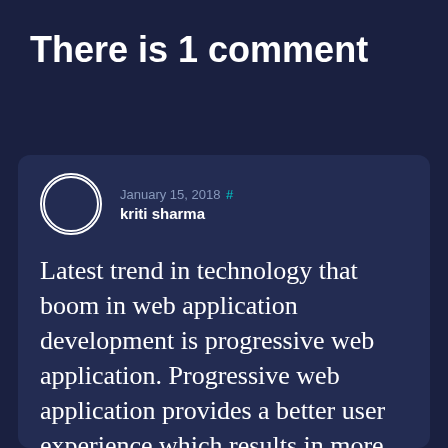There is 1 comment
January 15, 2018 #
kriti sharma
Latest trend in technology that boom in web application development is progressive web application. Progressive web application provides a better user experience which results in more user engagement.